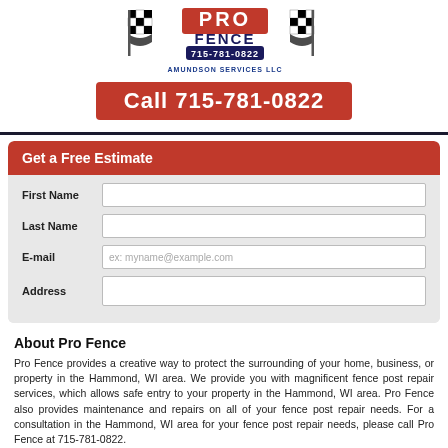[Figure (logo): Pro Fence logo with checkered flags and phone number 715-781-0822, Amundson Services LLC]
Call 715-781-0822
Get a Free Estimate
First Name
Last Name
E-mail
ex: myname@example.com
Address
About Pro Fence
Pro Fence provides a creative way to protect the surrounding of your home, business, or property in the Hammond, WI area. We provide you with magnificent fence post repair services, which allows safe entry to your property in the Hammond, WI area. Pro Fence also provides maintenance and repairs on all of your fence post repair needs. For a consultation in the Hammond, WI area for your fence post repair needs, please call Pro Fence at 715-781-0822.